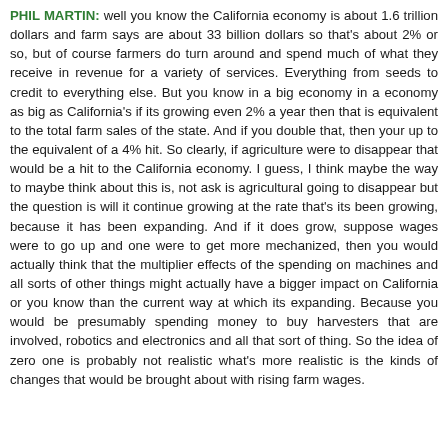PHIL MARTIN: well you know the California economy is about 1.6 trillion dollars and farm says are about 33 billion dollars so that's about 2% or so, but of course farmers do turn around and spend much of what they receive in revenue for a variety of services. Everything from seeds to credit to everything else. But you know in a big economy in a economy as big as California's if its growing even 2% a year then that is equivalent to the total farm sales of the state. And if you double that, then your up to the equivalent of a 4% hit. So clearly, if agriculture were to disappear that would be a hit to the California economy. I guess, I think maybe the way to maybe think about this is, not ask is agricultural going to disappear but the question is will it continue growing at the rate that's its been growing, because it has been expanding. And if it does grow, suppose wages were to go up and one were to get more mechanized, then you would actually think that the multiplier effects of the spending on machines and all sorts of other things might actually have a bigger impact on California or you know than the current way at which its expanding. Because you would be presumably spending money to buy harvesters that are involved, robotics and electronics and all that sort of thing. So the idea of zero one is probably not realistic what's more realistic is the kinds of changes that would be brought about with rising farm wages.